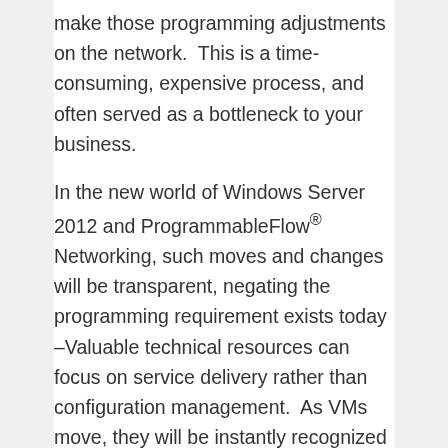make those programming adjustments on the network.  This is a time-consuming, expensive process, and often served as a bottleneck to your business.
In the new world of Windows Server 2012 and ProgrammableFlow® Networking, such moves and changes will be transparent, negating the programming requirement exists today –Valuable technical resources can focus on service delivery rather than configuration management.  As VMs move, they will be instantly recognized by the OpenFlow-based ProgrammableFlow controller and the network topology will be automatically updated.  And this is the really